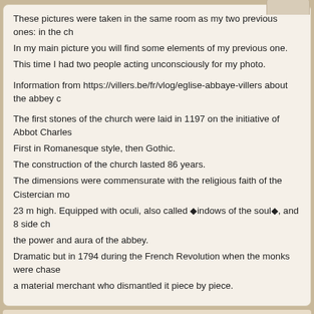These pictures were taken in the same room as my two previous ones: in the ch... In my main picture you will find some elements of my previous one. This time I had two people acting unconsciously for my photo.

Information from https://villers.be/fr/vlog/eglise-abbaye-villers about the abbey c...

The first stones of the church were laid in 1197 on the initiative of Abbot Charles... First in Romanesque style, then Gothic. The construction of the church lasted 86 years. The dimensions were commensurate with the religious faith of the Cistercian mo... 23 m high. Equipped with oculi, also called windows of the soul, and 8 side ch... the power and aura of the abbey. Dramatic but in 1794 during the French Revolution when the monks were chase... a material merchant who dismantled it piece by piece.
holmertz, Fis2, jean113, pierrefonds, macjake, ricardomattos, COSTANTIN... pajaran, mcmtanyel, adramad, worldcitizen has marked this note useful
Critiques | Translate
Silvio1953 (223699) 2022-05-10 5:34 Ciao Paul, great perspective on fascinating ruined abbey, wonderful colors, sple... very well done, my friend, ciao Silvio